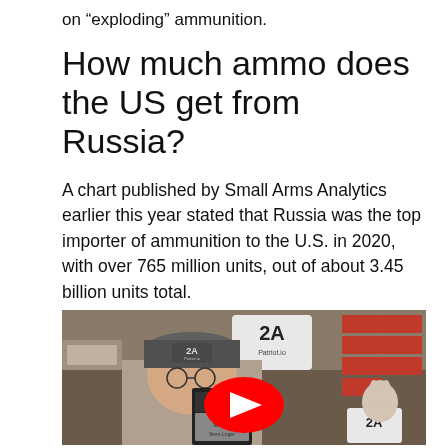on “exploding” ammunition.
How much ammo does the US get from Russia?
A chart published by Small Arms Analytics earlier this year stated that Russia was the top importer of ammunition to the U.S. in 2020, with over 765 million units, out of about 3.45 billion units total.
[Figure (photo): YouTube video thumbnail showing a man wearing a '2A' cap holding ammunition boxes in what appears to be a gun store, with a red YouTube play button overlay in the center.]